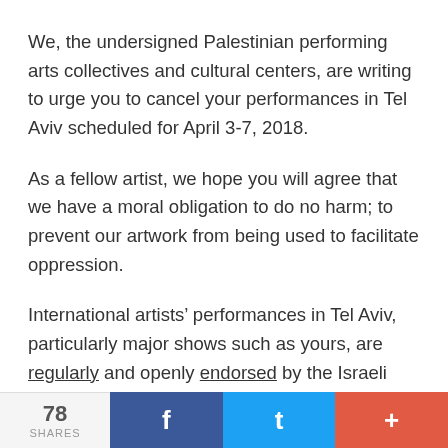We, the undersigned Palestinian performing arts collectives and cultural centers, are writing to urge you to cancel your performances in Tel Aviv scheduled for April 3-7, 2018.
As a fellow artist, we hope you will agree that we have a moral obligation to do no harm; to prevent our artwork from being used to facilitate oppression.
International artists' performances in Tel Aviv, particularly major shows such as yours, are regularly and openly endorsed by the Israeli government. Such performances are deliberately
78 SHARES